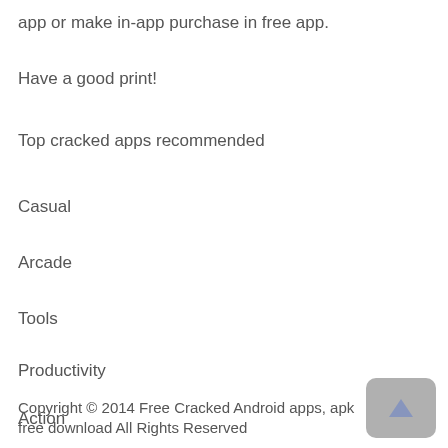app or make in-app purchase in free app.
Have a good print!
Top cracked apps recommended
Casual
Arcade
Tools
Productivity
Action
Copyright © 2014 Free Cracked Android apps, apk free download All Rights Reserved